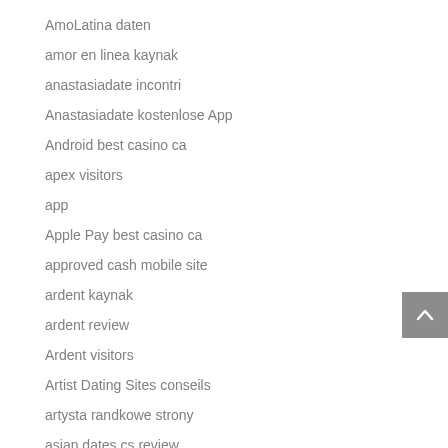AmoLatina daten
amor en linea kaynak
anastasiadate incontri
Anastasiadate kostenlose App
Android best casino ca
apex visitors
app
Apple Pay best casino ca
approved cash mobile site
ardent kaynak
ardent review
Ardent visitors
Artist Dating Sites conseils
artysta randkowe strony
asian dates cs review